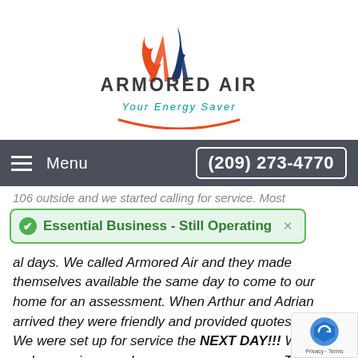[Figure (logo): Armored Air logo with stylized flame/letter mark in orange and blue, company name 'ARMORED AIR' in dark gray bold, tagline 'Your Energy Saver' in teal italic, orange swoosh underline]
Menu  (209) 273-4770
106 outside and we started calling for service. Most [Essential Business - Still Operating] al days. We called Armored Air and they made themselves available the same day to come to our home for an assessment. When Arthur and Adrian arrived they were friendly and provided quotes quickly. We were set up for service the NEXT DAY!!! We were so happy since our house was now a sauna. The day of ins a new air conditioning Arthur and Adrian showed u when they said. They were prepared, friendly and when they said. They were prepared, friendly and